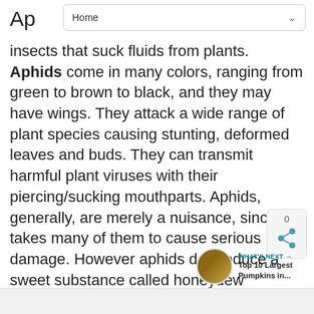Home
Ap insects that suck fluids from plants. Aphids come in many colors, ranging from green to brown to black, and they may have wings. They attack a wide range of plant species causing stunting, deformed leaves and buds. They can transmit harmful plant viruses with their piercing/sucking mouthparts. Aphids, generally, are merely a nuisance, since it takes many of them to cause serious plant damage. However aphids do produce a sweet substance called honeydew (coveted by ants) which can lead to an unattractive black surface growth called sooty mold.
[Figure (other): Share widget showing 0 shares with a share icon]
[Figure (other): What's Next thumbnail - Top 10 Largest Pumpkins in...]